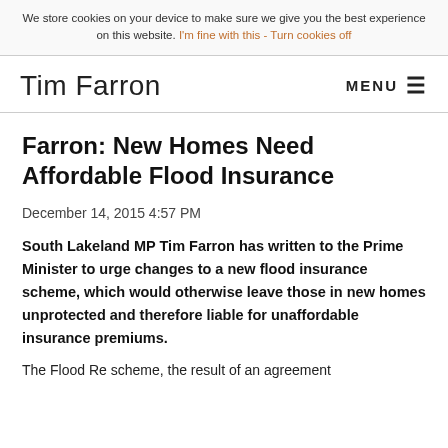We store cookies on your device to make sure we give you the best experience on this website. I'm fine with this - Turn cookies off
Tim Farron    MENU ☰
Farron: New Homes Need Affordable Flood Insurance
December 14, 2015 4:57 PM
South Lakeland MP Tim Farron has written to the Prime Minister to urge changes to a new flood insurance scheme, which would otherwise leave those in new homes unprotected and therefore liable for unaffordable insurance premiums.
The Flood Re scheme, the result of an agreement